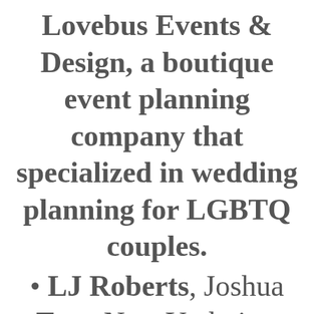Lovebus Events & Design, a boutique event planning company that specialized in wedding planning for LGBTQ couples.
LJ Roberts, Joshua Tree, New York, is a